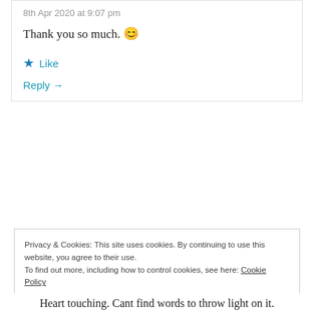8th Apr 2020 at 9:07 pm
Thank you so much. 😊
★ Like
Reply →
[Figure (other): Longreads advertisement banner: red background with white text 'The best stories on the web – ours, and everyone else's.']
REPORT THIS AD
Privacy & Cookies: This site uses cookies. By continuing to use this website, you agree to their use. To find out more, including how to control cookies, see here: Cookie Policy
Close and accept
Heart touching. Cant find words to throw light on it.